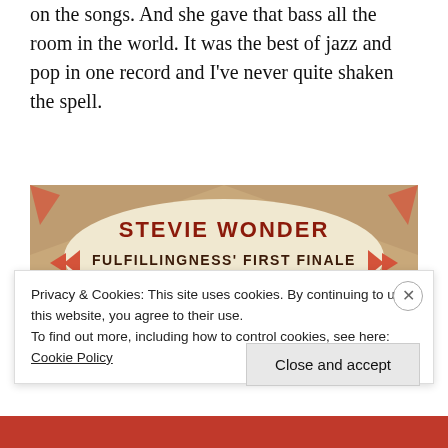on the songs. And she gave that bass all the room in the world. It was the best of jazz and pop in one record and I've never quite shaken the spell.
[Figure (photo): Album cover for Stevie Wonder's 'Fulfillingness' First Finale' showing stylized retro text on a cream/orange geometric background]
Privacy & Cookies: This site uses cookies. By continuing to use this website, you agree to their use.
To find out more, including how to control cookies, see here: Cookie Policy
Close and accept